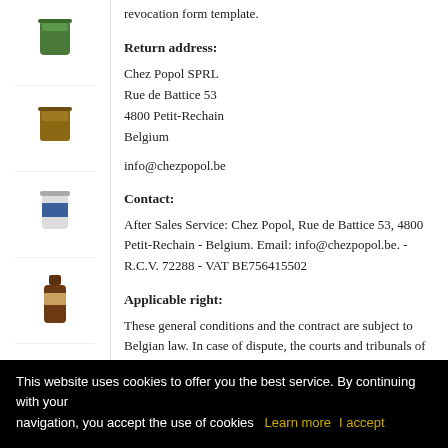revocation form template.
Return address:
Chez Popol SPRL
Rue de Battice 53
4800 Petit-Rechain
Belgium
info@chezpopol.be
Contact:
After Sales Service: Chez Popol, Rue de Battice 53, 4800 Petit-Rechain - Belgium. Email: info@chezpopol.be. - R.C.V. 72288 - VAT BE756415502
Applicable right:
These general conditions and the contract are subject to Belgian law. In case of dispute, the courts and tribunals of the district of Verviers (Belgium) are exclusively competent.
This website uses cookies to offer you the best service. By continuing with your navigation, you accept the use of cookies  Learn more  I accept